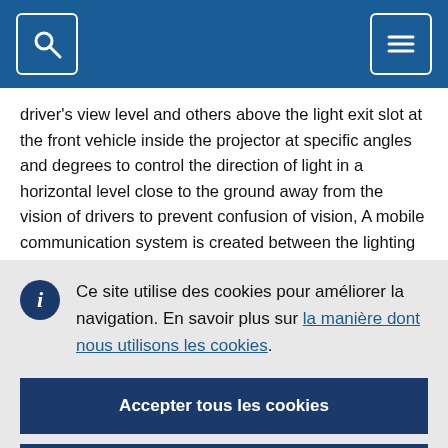[Figure (screenshot): Blue header bar with search icon button on the left and hamburger menu icon button on the right]
driver's view level and others above the light exit slot at the front vehicle inside the projector at specific angles and degrees to control the direction of light in a horizontal level close to the ground away from the vision of drivers to prevent confusion of vision, A mobile communication system is created between the lighting sensors to control the elevation of the light only to a horizontal level
Ce site utilise des cookies pour améliorer la navigation. En savoir plus sur la manière dont nous utilisons les cookies.
Accepter tous les cookies
N'accepter que les cookies essentiels